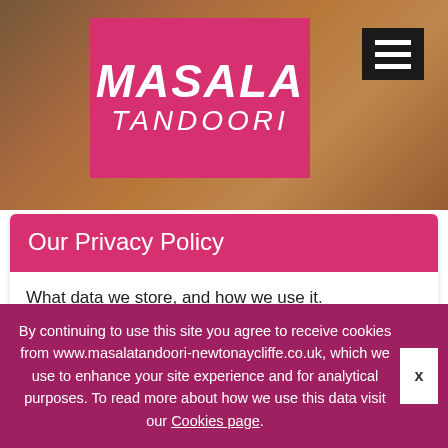[Figure (logo): Masala Tandoori restaurant logo — pink/magenta box with white italic text 'MASALA' large and 'TANDOORI' below, on a blurred food background. Hamburger menu icon top right.]
Our Privacy Policy
What data we store, and how we use it.
("We") are committed to protecting and respecting your privacy and protecting your data.
This policy (together with our terms of use www.kukd.com/privacy-policy and any other
By continuing to use this site you agree to receive cookies from www.masalatandoori-newtonaycliffe.co.uk, which we use to enhance your site experience and for analytical purposes. To read more about how we use this data visit our Cookies page.